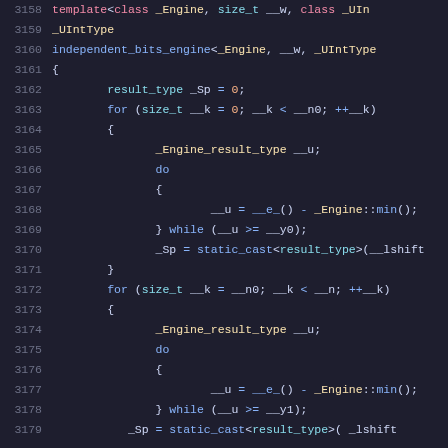Code listing lines 3158-3179, C++ source code for independent_bits_engine template implementation